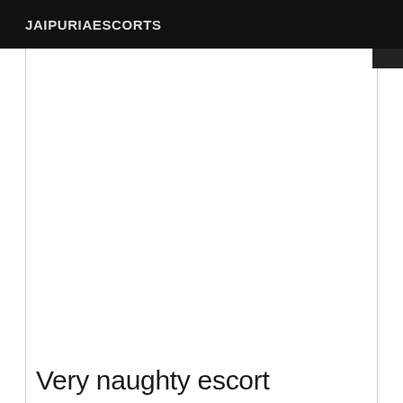JAIPURIAESCORTS
Very naughty escort